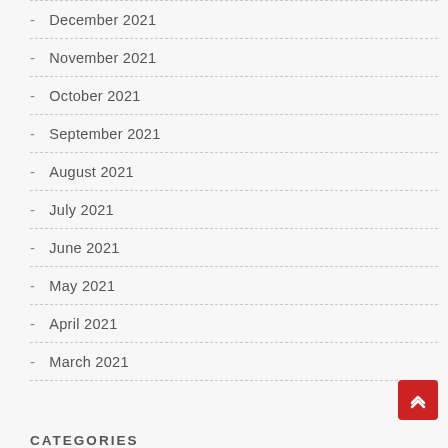- December 2021
- November 2021
- October 2021
- September 2021
- August 2021
- July 2021
- June 2021
- May 2021
- April 2021
- March 2021
CATEGORIES